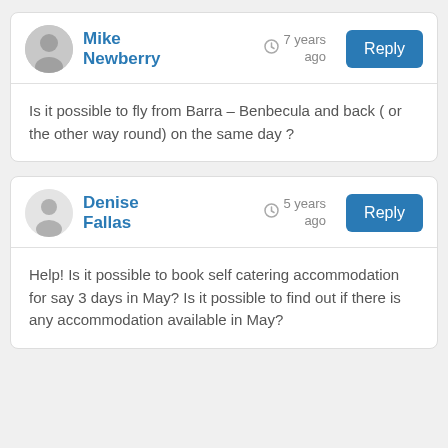Mike Newberry — 7 years ago — Reply
Is it possible to fly from Barra – Benbecula and back ( or the other way round) on the same day ?
Denise Fallas — 5 years ago — Reply
Help! Is it possible to book self catering accommodation for say 3 days in May? Is it possible to find out if there is any accommodation available in May?